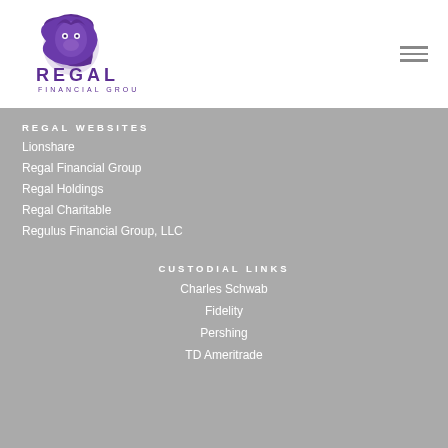[Figure (logo): Regal Financial Group lion logo with purple text]
REGAL WEBSITES
Lionshare
Regal Financial Group
Regal Holdings
Regal Charitable
Regulus Financial Group, LLC
CUSTODIAL LINKS
Charles Schwab
Fidelity
Pershing
TD Ameritrade